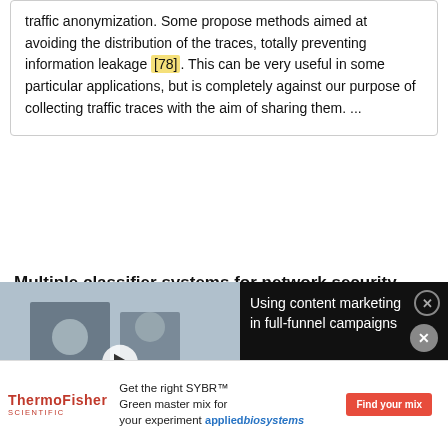traffic anonymization. Some propose methods aimed at avoiding the distribution of the traces, totally preventing information leakage [78]. This can be very useful in some particular applications, but is completely against our purpose of collecting traffic traces with the aim of sharing them. ...
Multiple classifier systems for network security from data collection to attack detection
Article
Jan 2008
[Figure (screenshot): Video advertisement overlay showing 'Using content marketing in full-funnel campaigns' with a thumbnail of people in an office and a play button]
repositories, such as PREDICT [31], suggest that researchers are willing and ready to collaborate on this issue. Of course, an actual implementation would require
[Figure (advertisement): ThermoFisher Scientific advertisement: Get the right SYBR Green master mix for your experiment, applied biosystems]